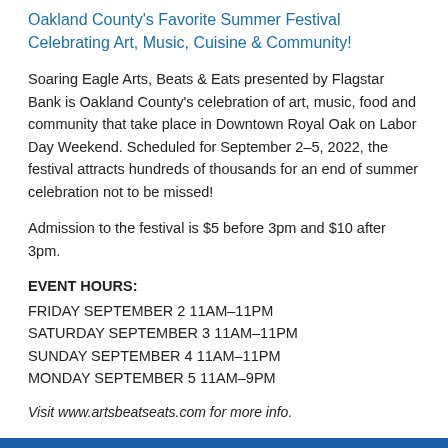Oakland County's Favorite Summer Festival Celebrating Art, Music, Cuisine & Community!
Soaring Eagle Arts, Beats & Eats presented by Flagstar Bank is Oakland County's celebration of art, music, food and community that take place in Downtown Royal Oak on Labor Day Weekend. Scheduled for September 2–5, 2022, the festival attracts hundreds of thousands for an end of summer celebration not to be missed!
Admission to the festival is $5 before 3pm and $10 after 3pm.
EVENT HOURS:
FRIDAY SEPTEMBER 2 11AM–11PM
SATURDAY SEPTEMBER 3 11AM–11PM
SUNDAY SEPTEMBER 4 11AM–11PM
MONDAY SEPTEMBER 5 11AM–9PM
Visit www.artsbeatseats.com for more info.